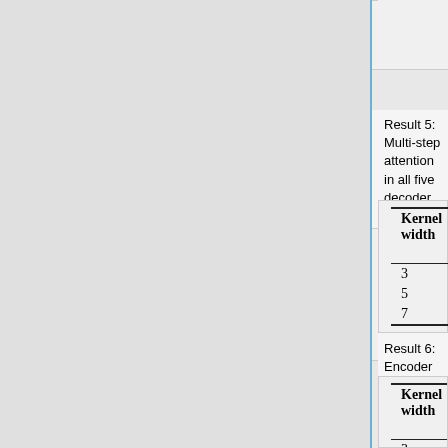|  | PPL | BLEU |
| --- | --- | --- |
| 3 | 7.11 | 21.19 |
| 4 | 7.19 | 21.31 |
| 5 | 7.66 | 20.24 |
Result 5: Multi-step attention in all five decoder layers or fewer layers in terms of validation perplexity (PPL) and test BLEU.
| Kernel width | Encoder layers |  |  |
| --- | --- | --- | --- |
|  | 5 | 9 | 13 |
| 3 | 20.61 | 21.17 | 21.63 |
| 5 | 20.80 | 21.02 | 21.42 |
| 7 | 20.81 | 21.30 | 21.09 |
Result 6: Encoder with different kernel width in terms of BLEU
| Kernel width | Decoder layers |  |  |
| --- | --- | --- | --- |
|  | 3 | 5 |  |
| 3 | 21.10 | 21.71 | 21.6 |
| 5 | 21.09 | 21.63 | 21.2 |
| 7 | 21.40 | 21.31 | 21.3 |